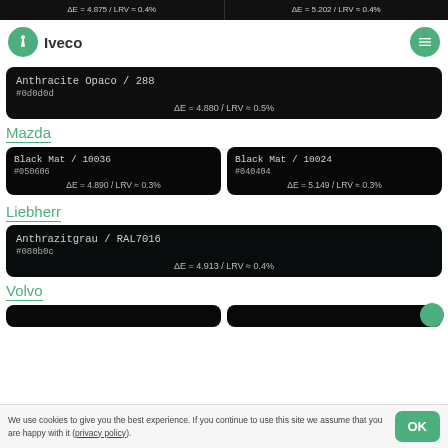ΔE = 4.875 / LRV ≈ 0.4%
ΔE = 5.202 / LRV ≈ 0.4%
Iveco
Anthracite Opaco / 288
#0d0d0d
ΔE = 4.880 / LRV ≈ 0.5%
Mazda
Black Mat / 10036
#050606
ΔE = 4.890 / LRV ≈ 0.3%
Black Mat / 10024
#040404
ΔE = 5.149 / LRV ≈ 0.3%
Liebherr
Anthrazitgrau / RAL7016
#080b0c
ΔE = 4.913 / LRV ≈ 0.4%
Volvo
We use cookies to give you the best experience. If you continue to use this site we assume that you are happy with it (privacy policy).